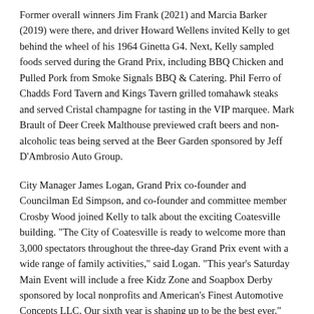Former overall winners Jim Frank (2021) and Marcia Barker (2019) were there, and driver Howard Wellens invited Kelly to get behind the wheel of his 1964 Ginetta G4. Next, Kelly sampled foods served during the Grand Prix, including BBQ Chicken and Pulled Pork from Smoke Signals BBQ & Catering. Phil Ferro of Chadds Ford Tavern and Kings Tavern grilled tomahawk steaks and served Cristal champagne for tasting in the VIP marquee. Mark Brault of Deer Creek Malthouse previewed craft beers and non-alcoholic teas being served at the Beer Garden sponsored by Jeff D'Ambrosio Auto Group.
City Manager James Logan, Grand Prix co-founder and Councilman Ed Simpson, and co-founder and committee member Crosby Wood joined Kelly to talk about the exciting Coatesville building. "The City of Coatesville is ready to welcome more than 3,000 spectators throughout the three-day Grand Prix event with a wide range of family activities," said Logan. "This year's Saturday Main Event will include a free Kidz Zone and Soapbox Derby sponsored by local nonprofits and American's Finest Automotive Concepts LLC. Our sixth year is shaping up to be the best ever."
The Coatesville Invitational Vintage Grand Prix begins at 8:30 a.m. and is free